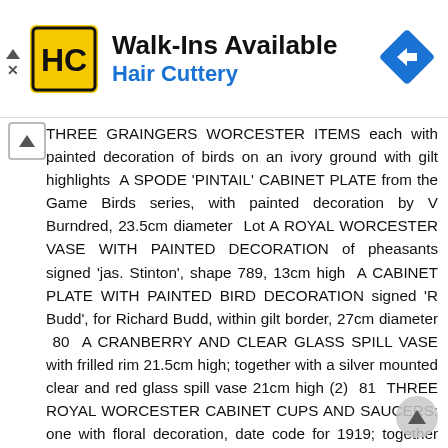[Figure (infographic): Hair Cuttery advertisement banner with logo (HC in yellow circle) and text 'Walk-Ins Available' and 'Hair Cuttery' in blue, with a blue navigation direction sign icon on the right.]
THREE GRAINGERS WORCESTER ITEMS each with painted decoration of birds on an ivory ground with gilt highlights A SPODE 'PINTAIL' CABINET PLATE from the Game Birds series, with painted decoration by V Burndred, 23.5cm diameter Lot A ROYAL WORCESTER VASE WITH PAINTED DECORATION of pheasants signed 'jas. Stinton', shape 789, 13cm high A CABINET PLATE WITH PAINTED BIRD DECORATION signed 'R Budd', for Richard Budd, within gilt border, 27cm diameter 80 A CRANBERRY AND CLEAR GLASS SPILL VASE with frilled rim 21.5cm high; together with a silver mounted clear and red glass spill vase 21cm high (2) 81 THREE ROYAL WORCESTER CABINET CUPS AND SAUCERS: one with floral decoration, date code for 1919; together with another decorated with blackberries and one other (3) Lot TWO ROYAL WORCESTER BLUSH IVORY VASES: shape 982, puce printed mark to base, 17cm high; and shape 1663, puce printed mark and Rd no to base, 11cm high (2) A ROYAL